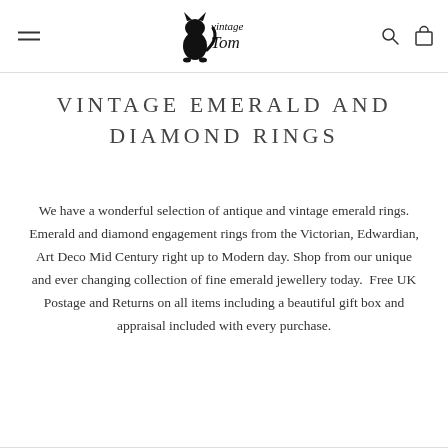Vintage Tom
VINTAGE EMERALD AND DIAMOND RINGS
We have a wonderful selection of antique and vintage emerald rings. Emerald and diamond engagement rings from the Victorian, Edwardian, Art Deco Mid Century right up to Modern day. Shop from our unique and ever changing collection of fine emerald jewellery today.  Free UK Postage and Returns on all items including a beautiful gift box and appraisal included with every purchase.